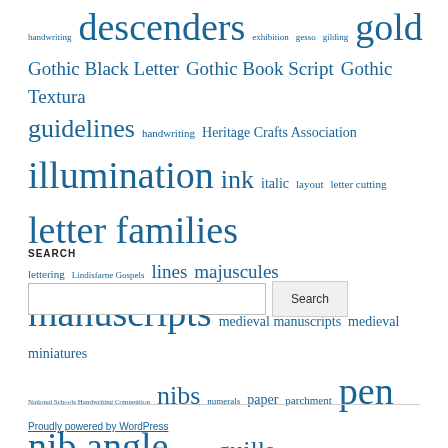handwriting descenders exhibition gesso gilding gold Gothic Black Letter Gothic Book Script Gothic Textura guidelines handwriting Heritage Crafts Association illumination ink italic layout letter cutting letter families lettering Lindisfarne Gospels lines majuscules manuscripts medieval manuscripts medieval miniatures National Schools Handwriting Competition nibs numerals paper parchment pen nib angle pens quills Rome Schmincke Calligraphy Gouache Sheila Waters stroke Uncials vellum x height
SEARCH
[Figure (other): Search input box and Search button]
Proudly powered by WordPress